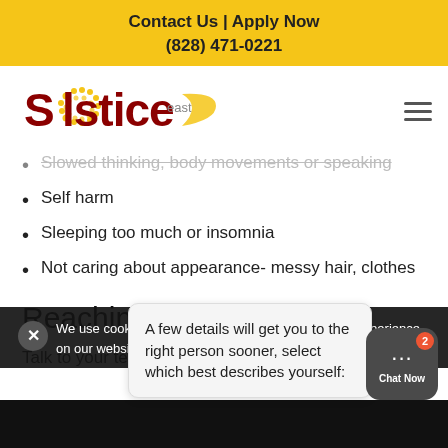Contact Us | Apply Now
(828) 471-0221
[Figure (logo): Solstice East logo with sun graphic and crescent moon]
Slowed thinking, body movements or speaking
Self harm
Sleeping too much or insomnia
Not caring about appearance- messy hair, clothes
Reaching out
Talk to your teen about what's going on in their
We use cookies to ensure that we give you the best experience on our website. If y... that you
A few details will get you to the right person sooner, select which best describes yourself: